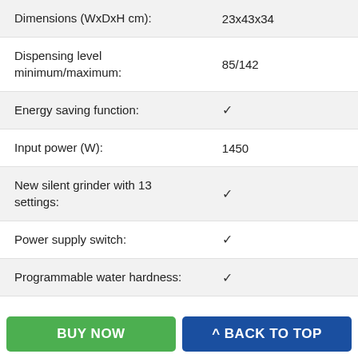| Feature | Value |
| --- | --- |
| Dimensions (WxDxH cm): | 23x43x34 |
| Dispensing level minimum/maximum: | 85/142 |
| Energy saving function: | ✓ |
| Input power (W): | 1450 |
| New silent grinder with 13 settings: | ✓ |
| Power supply switch: | ✓ |
| Programmable water hardness: | ✓ |
| Pump pressure (bar): | 15 |
| Rapid Steam: | ✓ |
BUY NOW
^ BACK TO TOP